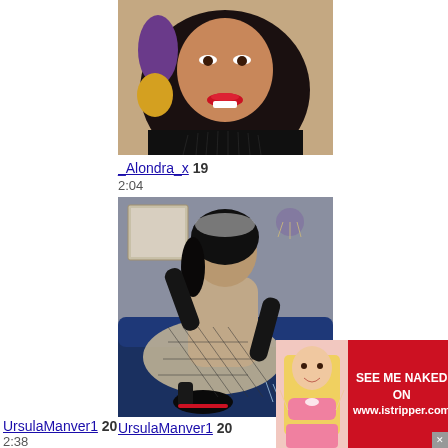[Figure (photo): Close-up photo of a woman with long dark hair and red lips, wearing a dark top]
_Alondra_x 19
2:04
[Figure (photo): Photo of a woman in a black fishnet bodysuit and black heels sitting on a blue couch]
UrsulaManver1 20
2:38
[Figure (photo): Ad overlay: blonde woman in pink lingerie with text SEE ME NAKED ON www.istripper.com]